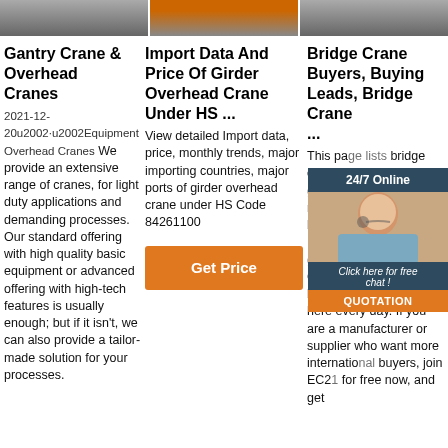[Figure (photo): Three horizontal image thumbnails at top: left is grayscale construction/crane scene, middle shows orange/yellow heavy equipment, right is another crane/industrial scene]
Gantry Crane & Overhead Cranes
2021-12-20u2002·u2002Equipment Overhead Cranes We provide an extensive range of cranes, for light duty applications and demanding processes. Our standard offering with high quality basic equipment or advanced offering with high-tech features is usually enough; but if it isn't, we can also provide a tailor-made solution for your processes.
Import Data And Price Of Girder Overhead Crane Under HS ...
View detailed Import data, price, monthly trends, major importing countries, major ports of girder overhead crane under HS Code 84261100
[Figure (other): Orange 'Get Price' button]
Bridge Crane Buyers, Buying Leads, Bridge Crane ...
This page lists bridge crane buying leads from global buyers. Find more bridge crane buyers in the largest global B2B marketplace. Global bridge crane buyers find suppliers here every day. If you are a manufacturer or supplier who want more international buyers, join EC21 for free now, and get
[Figure (other): Overlay chat widget: dark header '24/7 Online', photo of woman with headset, 'Click here for free chat!' text, orange QUOTATION button]